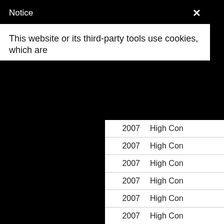Notice
This website or its third-party tools use cookies, which are
| Year | Type |
| --- | --- |
| 2007 | High Con |
| 2007 | High Con |
| 2007 | High Con |
| 2007 | High Con |
| 2007 | High Con |
| 2007 | High Con |
| 2007 | High Con |
| 2007 | High Con |
| 2006 | High Con |
| 2002 | High Con |
| 2018 | High Con |